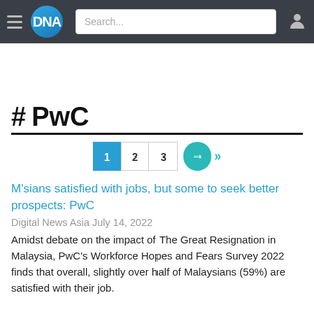DNA — Search — User icon nav bar
# PwC
1 2 3 → »
M'sians satisfied with jobs, but some to seek better prospects: PwC
Digital News Asia July 14, 2022
Amidst debate on the impact of The Great Resignation in Malaysia, PwC's Workforce Hopes and Fears Survey 2022 finds that overall, slightly over half of Malaysians (59%) are satisfied with their job.